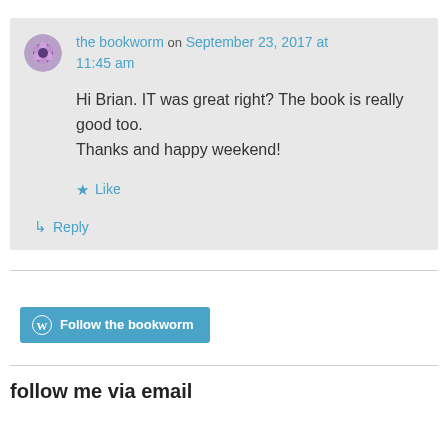the bookworm on September 23, 2017 at 11:45 am
Hi Brian. IT was great right? The book is really good too.
Thanks and happy weekend!
★ Like
↳ Reply
[Figure (other): Follow the bookworm button with WordPress logo]
follow me via email